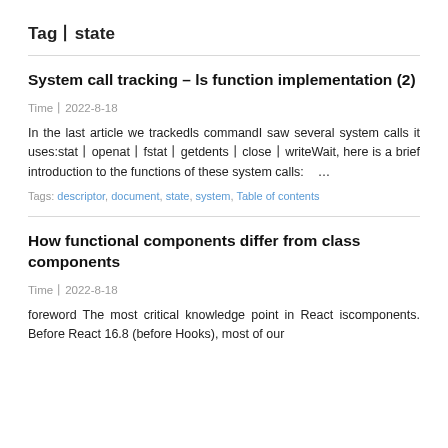Tag state
System call tracking – ls function implementation (2)
Time：2022-8-18
In the last article we trackedls commandI saw several system calls it uses:stat openat fstat getdents close writeWait, here is a brief introduction to the functions of these system calls:   …
Tags: descriptor, document, state, system, Table of contents
How functional components differ from class components
Time：2022-8-18
foreword The most critical knowledge point in React iscomponents. Before React 16.8 (before Hooks), most of our